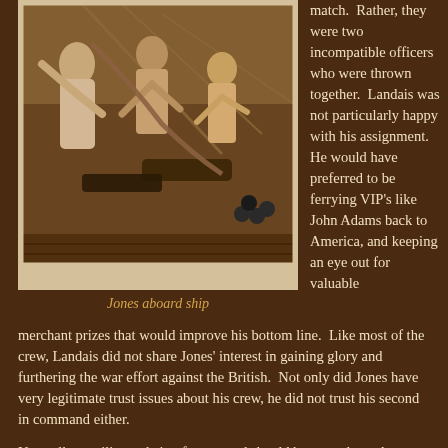[Figure (illustration): Historical painting of sailors/soldiers aboard a ship, with figures in classical dress handling ropes and cannons]
Jones aboard ship
match.  Rather, they were two incompatible officers who were thrown together.  Landais was not particularly happy with his assignment.  He would have preferred to be ferrying VIP's like John Adams back to America, and keeping an eye out for valuable merchant prizes that would improve his bottom line.  Like most of the crew, Landais did not share Jones' interest in gaining glory and furthering the war effort against the British.  Not only did Jones have very legitimate trust issues about his crew, he did not trust his second in command either.
Normally, a military chain of command should be very clear.  As commodore of the fleet, Jones should be able to expect that his orders would be obeyed.  That might not always be the case, as Jones discovered during his previous mission,